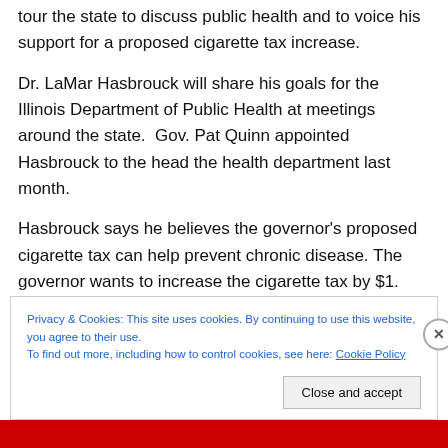tour the state to discuss public health and to voice his support for a proposed cigarette tax increase.
Dr. LaMar Hasbrouck will share his goals for the Illinois Department of Public Health at meetings around the state. Gov. Pat Quinn appointed Hasbrouck to the head the health department last month.
Hasbrouck says he believes the governor's proposed cigarette tax can help prevent chronic disease. The governor wants to increase the cigarette tax by $1.
Privacy & Cookies: This site uses cookies. By continuing to use this website, you agree to their use. To find out more, including how to control cookies, see here: Cookie Policy